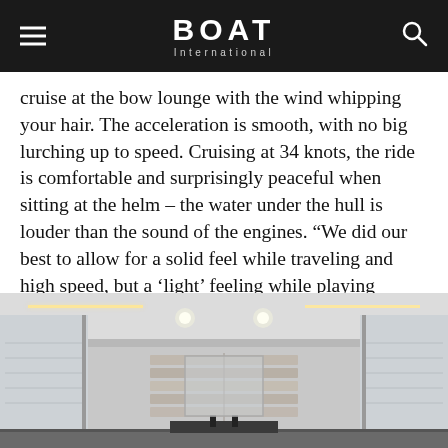BOAT International
cruise at the bow lounge with the wind whipping your hair. The acceleration is smooth, with no big lurching up to speed. Cruising at 34 knots, the ride is comfortable and surprisingly peaceful when sitting at the helm – the water under the hull is louder than the sound of the engines. “We did our best to allow for a solid feel while traveling and high speed, but a ‘light’ feeling while playing around in turns and waves,” Moerke says. “This combined with a smooth and dry ride in wavy seas was a real challenge.”
[Figure (photo): Interior view of a luxury yacht cabin showing a modern salon with light grey ceiling panels, LED strip lighting along the ceiling edges, recessed spotlights, horizontal wood-paneled accent wall in the background, and large windows on both sides.]